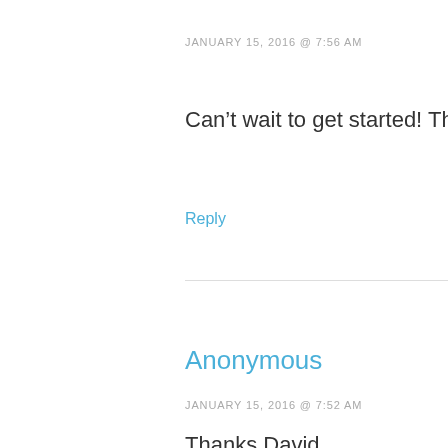JANUARY 15, 2016 @ 7:56 AM
Can't wait to get started! Thanks for your h…
Reply
Anonymous
JANUARY 15, 2016 @ 7:52 AM
Thanks David